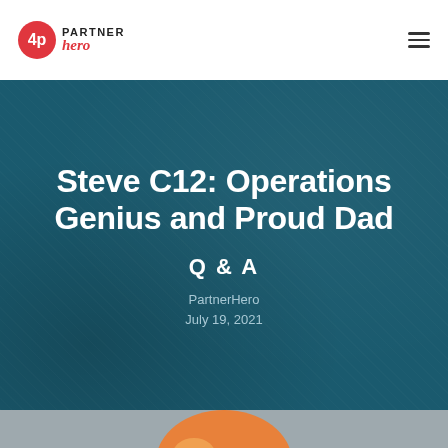PartnerHero
Steve C12: Operations Genius and Proud Dad
Q & A
PartnerHero
July 19, 2021
[Figure (illustration): Bottom strip showing partial circular orange/yellow illustration emerging from gray background]